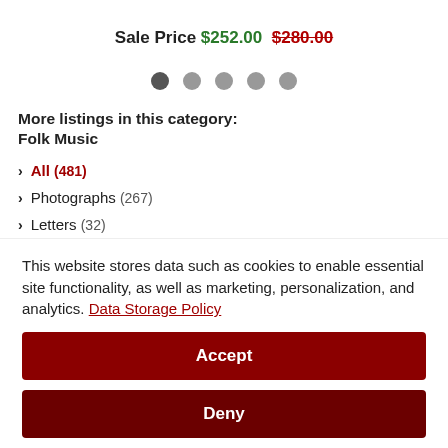Sale Price $252.00  $280.00
[Figure (other): Carousel dots navigation: 5 dots, first one active (dark), rest light gray]
More listings in this category:
Folk Music
> All (481)
> Photographs (267)
> Letters (32)
> Contracts / Documents (16)
This website stores data such as cookies to enable essential site functionality, as well as marketing, personalization, and analytics. Data Storage Policy
Accept
Deny